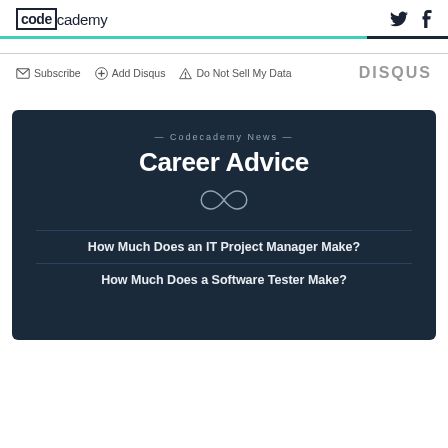codecademy
Subscribe  Add Disqus  Do Not Sell My Data  DISQUS
— Codecademy News —
Career Advice
How Much Does an IT Project Manager Make?
How Much Does a Software Tester Make?